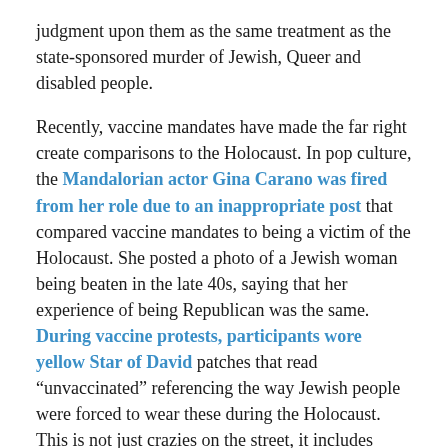judgment upon them as the same treatment as the state-sponsored murder of Jewish, Queer and disabled people.
Recently, vaccine mandates have made the far right create comparisons to the Holocaust. In pop culture, the Mandalorian actor Gina Carano was fired from her role due to an inappropriate post that compared vaccine mandates to being a victim of the Holocaust. She posted a photo of a Jewish woman being beaten in the late 40s, saying that her experience of being Republican was the same. During vaccine protests, participants wore yellow Star of David patches that read “unvaccinated” referencing the way Jewish people were forced to wear these during the Holocaust. This is not just crazies on the street, it includes members of the House of Representatives, such as Marjorie Taylor Greene, who came under fire for comparing House mask mandates to the treatment of Jewish people during the Holocaust. Other Representatives, including Representatives Jim Walsh, Heather Scott and Warren Davis